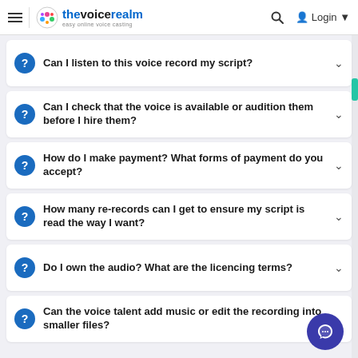thevoicerealm — easy online voice casting | Search | Login
Can I listen to this voice record my script?
Can I check that the voice is available or audition them before I hire them?
How do I make payment? What forms of payment do you accept?
How many re-records can I get to ensure my script is read the way I want?
Do I own the audio? What are the licencing terms?
Can the voice talent add music or edit the recording into smaller files?